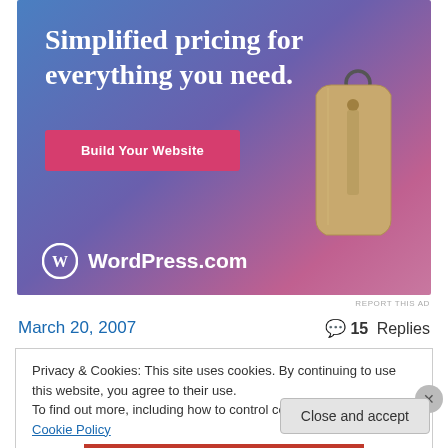[Figure (illustration): WordPress.com advertisement banner with gradient blue-purple-pink background, showing 'Simplified pricing for everything you need.' headline, a pink 'Build Your Website' button, a price tag illustration, and WordPress.com logo at bottom.]
REPORT THIS AD
March 20, 2007
💬 15 Replies
Privacy & Cookies: This site uses cookies. By continuing to use this website, you agree to their use.
To find out more, including how to control cookies, see here: Cookie Policy
Close and accept